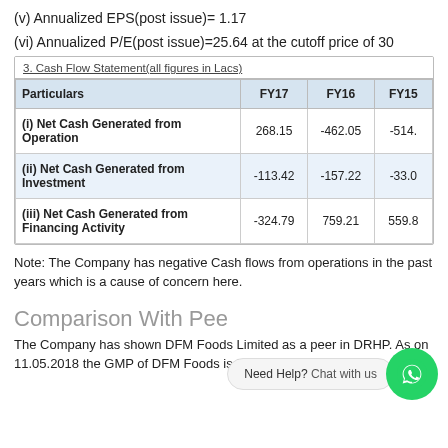(v) Annualized EPS(post issue)= 1.17
(vi) Annualized P/E(post issue)=25.64 at the cutoff price of 30
| Particulars | FY17 | FY16 | FY15 |
| --- | --- | --- | --- |
| (i) Net Cash Generated from Operation | 268.15 | -462.05 | -514. |
| (ii) Net Cash Generated from Investment | -113.42 | -157.22 | -33.0 |
| (iii) Net Cash Generated from Financing Activity | -324.79 | 759.21 | 559.8 |
Note: The Company has negative Cash flows from operations in the past years which is a cause of concern here.
Comparison With Pee
The Company has shown DFM Foods Limited as a peer in DRHP. As on 11.05.2018 the GMP of DFM Foods is Rs 1441 which